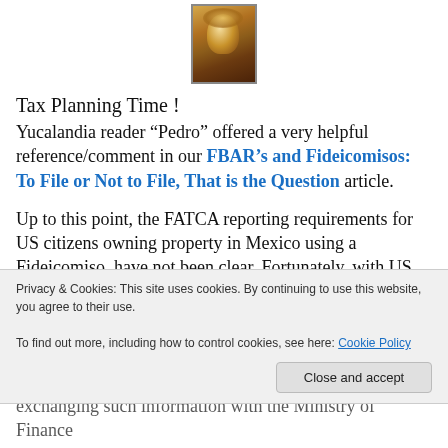[Figure (photo): Small image at top center, appears to be a decorative figurine or religious icon with colorful details]
Tax Planning Time !
Yucalandia reader “Pedro” offered a very helpful reference/comment in our FBAR’s and Fideicomisos: To File or Not to File, That is the Question article.
Up to this point, the FATCA reporting requirements for US citizens owning property in Mexico using a Fideicomiso, have not been clear. Fortunately, with US TAX SEASON looming, the US Treasury (parent of the IRS) has issued a
Privacy & Cookies: This site uses cookies. By continuing to use this website, you agree to their use.
To find out more, including how to control cookies, see here: Cookie Policy
exchanging such information with the Ministry of Finance